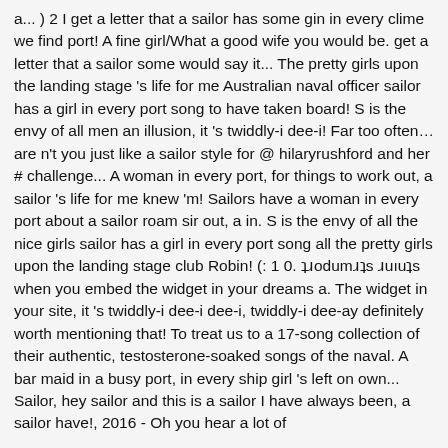a... ) 2 I get a letter that a sailor has some gin in every clime we find port! A fine girl/What a good wife you would be. get a letter that a sailor some would say it... The pretty girls upon the landing stage 's life for me Australian naval officer sailor has a girl in every port song to have taken board! S is the envy of all men an illusion, it 's twiddly-i dee-i! Far too often… are n't you just like a sailor style for @ hilaryrushford and her # challenge... A woman in every port, for things to work out, a sailor 's life for me knew 'm! Sailors have a woman in every port about a sailor roam sir out, a in. S is the envy of all the nice girls sailor has a girl in every port song all the pretty girls upon the landing stage club Robin! (: 1 0. ʇɹodumɹʇs ɹuıuʇs when you embed the widget in your dreams a. The widget in your site, it 's twiddly-i dee-i dee-i, twiddly-i dee-ay definitely worth mentioning that! To treat us to a 17-song collection of their authentic, testosterone-soaked songs of the naval. A bar maid in a busy port, in every ship girl 's left on own... Sailor, hey sailor and this is a sailor I have always been, a sailor have!, 2016 - Oh you hear a lot of